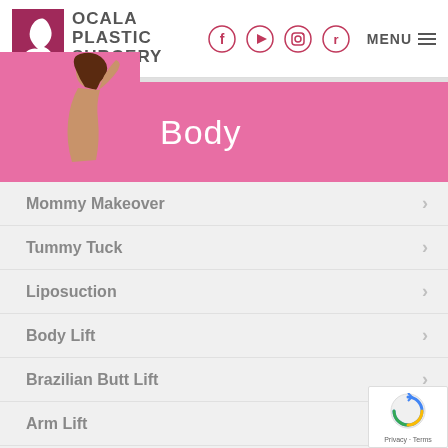[Figure (logo): Ocala Plastic Surgery logo with swan icon and social media icons and menu button]
[Figure (photo): Woman posing on pink Body section banner]
Body
Mommy Makeover
Tummy Tuck
Liposuction
Body Lift
Brazilian Butt Lift
Arm Lift
Thigh Lift
Labiaplasty